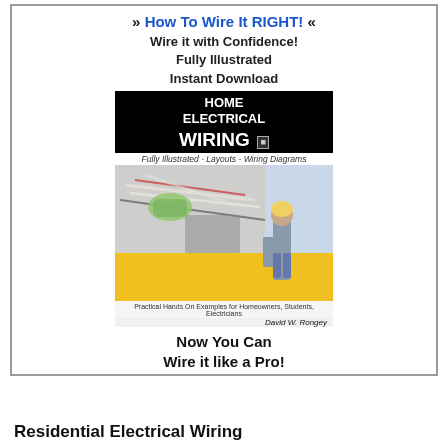» How To Wire It RIGHT! « Wire it with Confidence! Fully Illustrated Instant Download
[Figure (illustration): Book cover for 'Home Electrical Wiring' by David W. Rongey. Black title bar at top with 'HOME ELECTRICAL WIRING' in white text. Below is a photo showing electrical wires being worked on and a person standing with a yellow background. Bottom has small caption text: 'Practical Hands On Examples for Homeowners, Students, Electricians' and author name 'David W. Rongey'.]
Now You Can Wire it like a Pro!
Residential Electrical Wiring